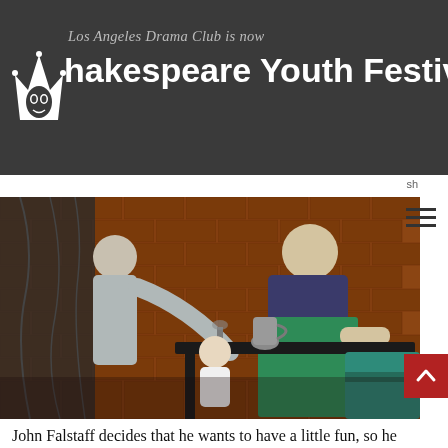Los Angeles Drama Club is now Shakespeare Youth Festival
[Figure (photo): Two performers in period costume at a wooden table with a pewter jug, in front of a brick wall backdrop. A third figure is partially visible in the background.]
John Falstaff decides that he wants to have a little fun, so he writes two letters to a pair of Windsor wives: Mistress Ford and Mistress Page. When they discover that they've both received letters, they plan a practical joke or two to teach the knight a lesson. But when Mistress Ford's husband finds out, chaos ensues. Meanwhile, three suitors seek the hand